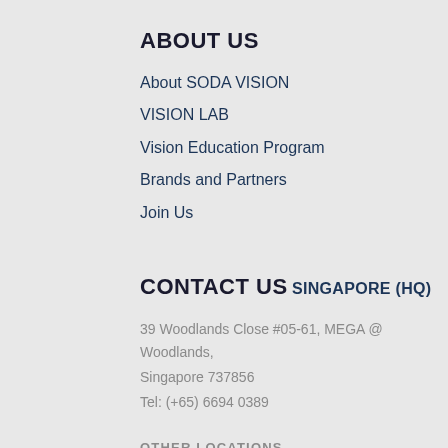ABOUT US
About SODA VISION
VISION LAB
Vision Education Program
Brands and Partners
Join Us
CONTACT US
SINGAPORE (HQ)
39 Woodlands Close #05-61, MEGA @ Woodlands, Singapore 737856
Tel: (+65) 6694 0389
OTHER LOCATIONS
Malaysia
Thailand
Vietnam